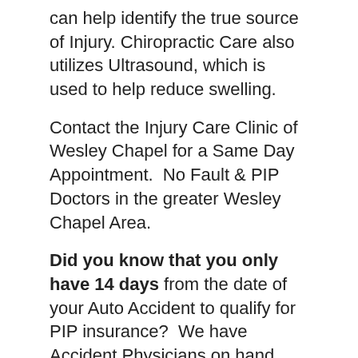can help identify the true source of Injury. Chiropractic Care also utilizes Ultrasound, which is used to help reduce swelling.
Contact the Injury Care Clinic of Wesley Chapel for a Same Day Appointment.  No Fault & PIP Doctors in the greater Wesley Chapel Area.
Did you know that you only have 14 days from the date of your Auto Accident to qualify for PIP insurance?  We have Accident Physicians on hand that can see you on the same day.  Or, we can often provide a phone appointment if you are close to the PIP deadline.  Don't miss out of your PIP benefits. Call to speak with an Accident Doctor today.
Chiropractor & Medical Doctors for Car Accident Injuries